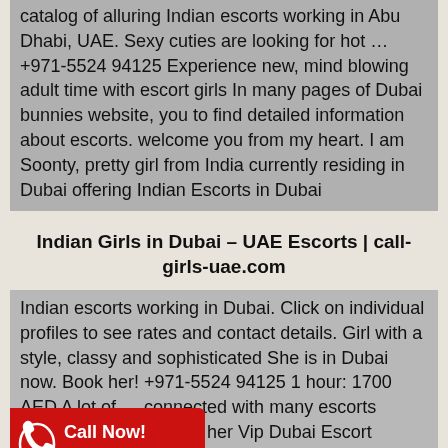catalog of alluring Indian escorts working in Abu Dhabi, UAE. Sexy cuties are looking for hot … +971-5524 94125 Experience new, mind blowing adult time with escort girls In many pages of Dubai bunnies website, you to find detailed information about escorts. welcome you from my heart. I am Soonty, pretty girl from India currently residing in Dubai offering Indian Escorts in Dubai
Indian Girls in Dubai – UAE Escorts | call-girls-uae.com
Indian escorts working in Dubai. Click on individual profiles to see rates and contact details. Girl with a style, classy and sophisticated She is in Dubai now. Book her! +971-5524 94125 1 hour: 1700 AED A lot of … connected with many escorts agency … AE provides her Vip Dubai Escort Service independently. Indian Escorts Dubai … Cll us ► +971 5524 94125 for Booking Dubai Indian Escorts … Escorts in Dubai, Our VIP Models working with DXB Girls Club… Call +971
[Figure (infographic): Red badge with phone icon saying 'Call Now! +971552494125']
[Figure (infographic): Dark red badge with WhatsApp icon saying 'WhatsApp us +971552494125']